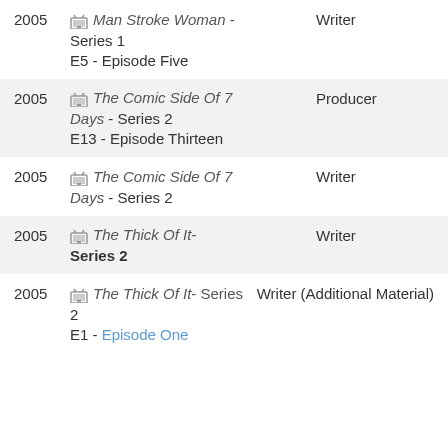2005 | Man Stroke Woman - Series 1, E5 - Episode Five | Writer
2005 | The Comic Side Of 7 Days - Series 2, E13 - Episode Thirteen | Producer
2005 | The Comic Side Of 7 Days - Series 2 | Writer
2005 | The Thick Of It - Series 2 | Writer
2005 | The Thick Of It - Series 2, E1 - Episode One | Writer (Additional Material)